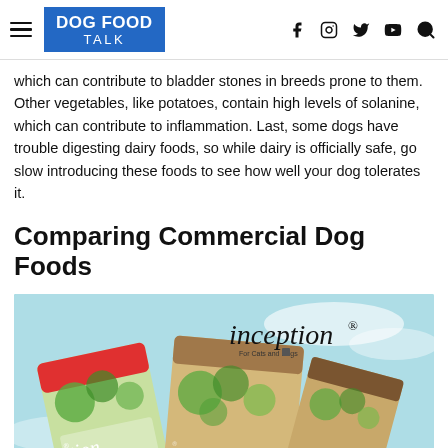DOG FOOD TALK
which can contribute to bladder stones in breeds prone to them. Other vegetables, like potatoes, contain high levels of solanine, which can contribute to inflammation. Last, some dogs have trouble digesting dairy foods, so while dairy is officially safe, go slow introducing these foods to see how well your dog tolerates it.
Comparing Commercial Dog Foods
[Figure (photo): Inception brand dog food bags displayed against a light blue background, showing colorful packaging with tree/nature imagery. Multiple bag sizes shown with the Inception logo and 'For Cats and Dogs' tagline.]